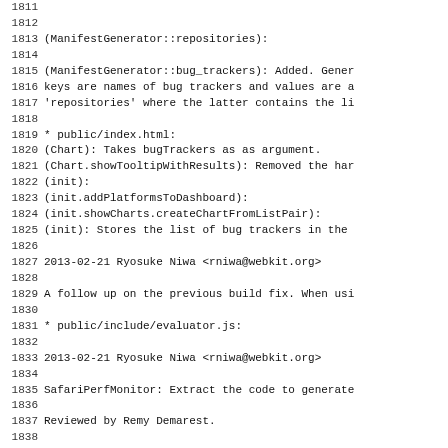Source code changelog/diff lines 1811-1843 showing git log entries for WebKit repository changes
1813: (ManifestGenerator::repositories):
1815-1817: (ManifestGenerator::bug_trackers): Added. Gener keys are names of bug trackers and values are a 'repositories' where the latter contains the li
1819: * public/index.html:
1820: (Chart): Takes bugTrackers as as argument.
1821: (Chart.showTooltipWithResults): Removed the har
1822: (init):
1823: (init.addPlatformsToDashboard):
1824: (init.showCharts.createChartFromListPair):
1825: (init): Stores the list of bug trackers in the
1827: 2013-02-21  Ryosuke Niwa  <rniwa@webkit.org>
1829: A follow up on the previous build fix. When usi
1831: * public/include/evaluator.js:
1833: 2013-02-21  Ryosuke Niwa  <rniwa@webkit.org>
1835: SafariPerfMonitor: Extract the code to generate
1837: Reviewed by Remy Demarest.
1839-1840: Extracted AdministrativePage to share the code new row into the database.
1842: * public/admin/aggregators.php: Use Administrat
1843: * public/admin/builders.php: Ditto.